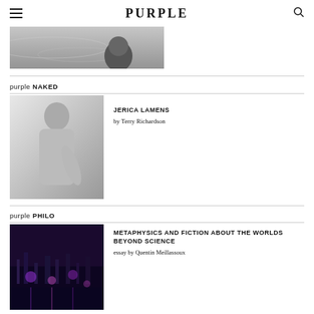PURPLE
[Figure (photo): Black and white photo of a person partially submerged in water]
purple NAKED
[Figure (photo): Black and white photo of a woman (Jerica Lamens) posed in a white top]
JERICA LAMENS
by Terry Richardson
purple PHILO
[Figure (photo): Night cityscape photo with purple/blue lighting]
METAPHYSICS AND FICTION ABOUT THE WORLDS BEYOND SCIENCE
essay by Quentin Meillassoux